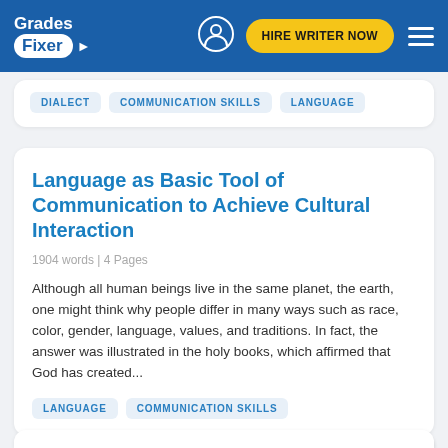Grades Fixer — HIRE WRITER NOW
DIALECT  COMMUNICATION SKILLS  LANGUAGE
Language as Basic Tool of Communication to Achieve Cultural Interaction
1904 words | 4 Pages
Although all human beings live in the same planet, the earth, one might think why people differ in many ways such as race, color, gender, language, values, and traditions. In fact, the answer was illustrated in the holy books, which affirmed that God has created...
LANGUAGE  COMMUNICATION SKILLS